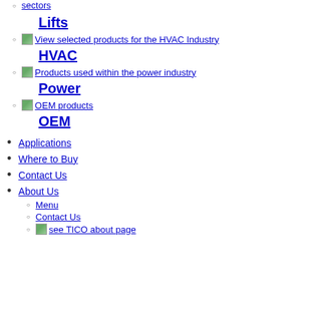sectors
Lifts
View selected products for the HVAC Industry
HVAC
Products used within the power industry
Power
OEM products
OEM
Applications
Where to Buy
Contact Us
About Us
Menu
Contact Us
see TICO about page